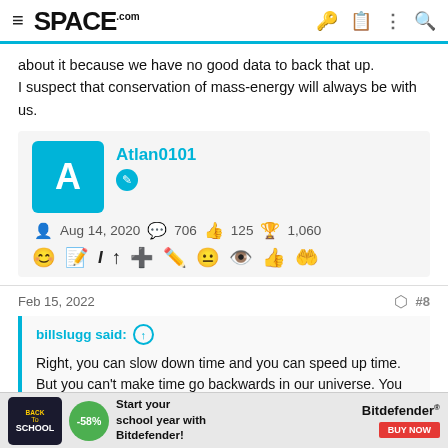SPACE.com
about it because we have no good data to back that up.
I suspect that conservation of mass-energy will always be with us.
Atlan0101
Aug 14, 2020  706  125  1,060
Feb 15, 2022  #8
billslugg said: ↑

Right, you can slow down time and you can speed up time. But you can't make time go backwards in our universe. You can look at the
[Figure (screenshot): Advertisement banner for Bitdefender Back to School sale with -58% discount]